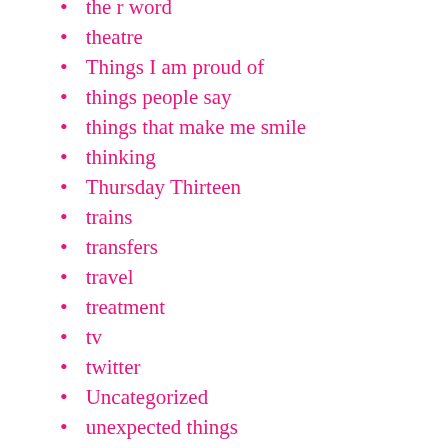the r word
theatre
Things I am proud of
things people say
things that make me smile
thinking
Thursday Thirteen
trains
transfers
travel
treatment
tv
twitter
Uncategorized
unexpected things
uni